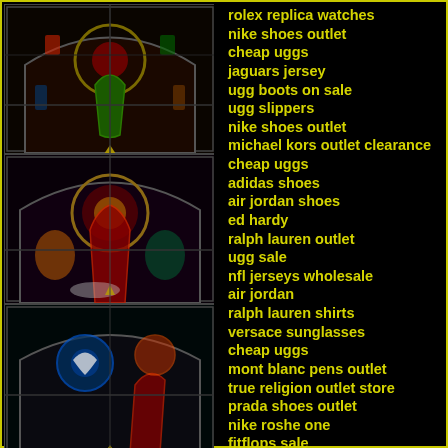[Figure (illustration): Three stained glass panels featuring fantasy/video game art (appears to be Legend of Zelda stained glass style) arranged vertically on the left side]
rolex replica watches
nike shoes outlet
cheap uggs
jaguars jersey
ugg boots on sale
ugg slippers
nike shoes outlet
michael kors outlet clearance
cheap uggs
adidas shoes
air jordan shoes
ed hardy
ralph lauren outlet
ugg sale
nfl jerseys wholesale
air jordan
ralph lauren shirts
versace sunglasses
cheap uggs
mont blanc pens outlet
true religion outlet store
prada shoes outlet
nike roshe one
fitflops sale
yeezy boost 350